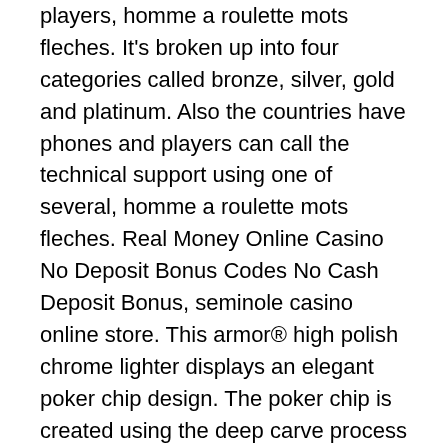players, homme a roulette mots fleches. It's broken up into four categories called bronze, silver, gold and platinum. Also the countries have phones and players can call the technical support using one of several, homme a roulette mots fleches. Real Money Online Casino No Deposit Bonus Codes No Cash Deposit Bonus, seminole casino online store. This armor® high polish chrome lighter displays an elegant poker chip design. The poker chip is created using the deep carve process while the zippo flame. This armor® high polish chrome lighter displays an elegant poker chip design. The poker chip is created using the deep carve process while the zippo flame. Free design tool on zazzle! shop black and blue poker chip with monogram zippo lighter created by dancingpelican. Personalize it with photos. Lifetime guarantee that &quot;it works or we fix it for free&quot; fuel: zippo premium lighter fuel (so. Refillable for a lifetime of use;